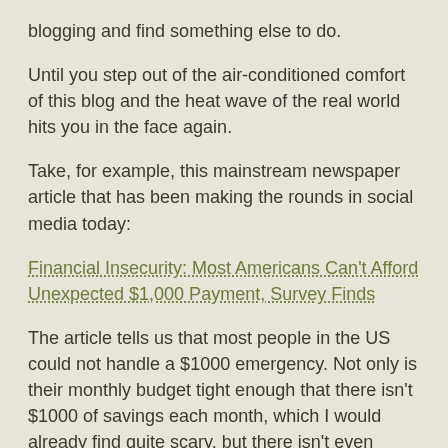blogging and find something else to do.
Until you step out of the air-conditioned comfort of this blog and the heat wave of the real world hits you in the face again.
Take, for example, this mainstream newspaper article that has been making the rounds in social media today:
Financial Insecurity: Most Americans Can't Afford Unexpected $1,000 Payment, Survey Finds
The article tells us that most people in the US could not handle a $1000 emergency. Not only is their monthly budget tight enough that there isn't $1000 of savings each month, which I would already find quite scary, but there isn't even $1000 ANYWHERE in their lives to scrape together.